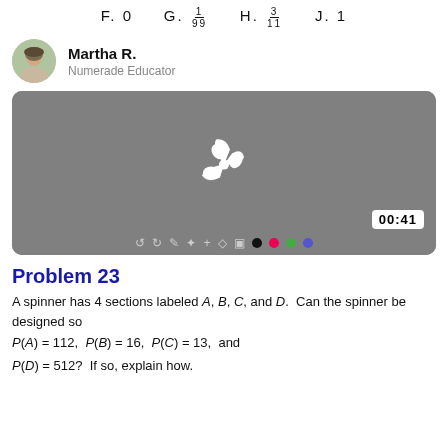F. 0   G. 1/99   H. 3/11   J. 1
Martha R. — Numerade Educator
[Figure (screenshot): Video player thumbnail with Numerade logo and timestamp 00:41, toolbar at bottom]
Problem 23
A spinner has 4 sections labeled A, B, C, and D. Can the spinner be designed so P(A) = 1/12, P(B) = 1/6, P(C) = 1/3, and P(D) = 5/12? If so, explain how.